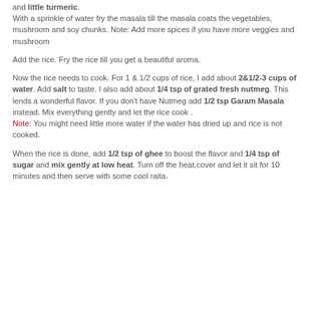and little turmeric. With a sprinkle of water fry the masala till the masala coats the vegetables, mushroom and soy chunks. Note: Add more spices if you have more veggies and mushroom
Add the rice. Fry the rice till you get a beautiful aroma.
Now the rice needs to cook. For 1 & 1/2 cups of rice, I add about 2&1/2-3 cups of water. Add salt to taste. I also add about 1/4 tsp of grated fresh nutmeg. This lends a wonderful flavor. If you don't have Nutmeg add 1/2 tsp Garam Masala instead. Mix everything gently and let the rice cook . Note: You might need little more water if the water has dried up and rice is not cooked.
When the rice is done, add 1/2 tsp of ghee to boost the flavor and 1/4 tsp of sugar and mix gently at low heat. Turn off the heat,cover and let it sit for 10 minutes and then serve with some cool raita.